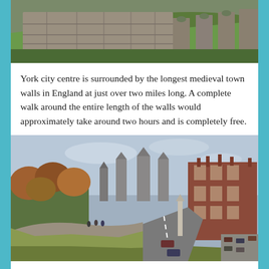[Figure (photo): Close-up photo of ancient medieval stone walls with grassy banks, showing large stone blocks and arched supports.]
York city centre is surrounded by the longest medieval town walls in England at just over two miles long. A complete walk around the entire length of the walls would approximately take around two hours and is completely free.
[Figure (photo): Panoramic photo showing York city walls curving in the foreground with York Minster cathedral visible in the background, autumn trees on the left and Victorian brick buildings on the right.]